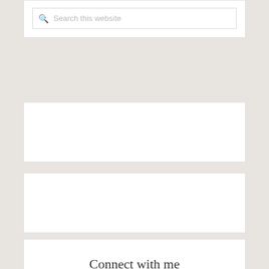[Figure (screenshot): Search widget with search icon and placeholder text 'Search this website']
[Figure (screenshot): Empty white content widget box]
[Figure (screenshot): Empty white content widget box]
Connect with me
[Figure (screenshot): Social media icons: two teal circular buttons with pound/currency symbol and Pinterest-like icon]